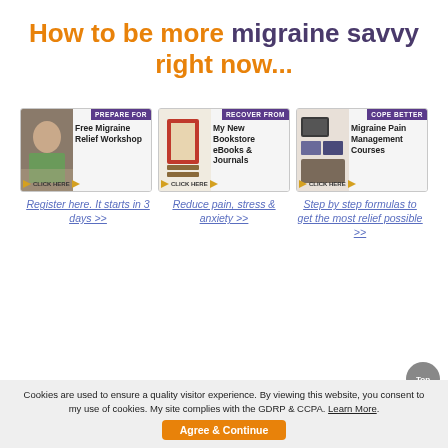How to be more migraine savvy right now...
[Figure (illustration): Three promotional banner cards side by side: 1) PREPARE FOR - Free Migraine Relief Workshop, CLICK HERE with arrow; 2) RECOVER FROM - My New Bookstore eBooks & Journals, CLICK HERE with arrow; 3) COPE BETTER - Migraine Pain Management Courses, CLICK HERE with arrow]
Register here. It starts in 3 days >>
Reduce pain, stress & anxiety >>
Step by step formulas to get the most relief possible >>
Cookies are used to ensure a quality visitor experience. By viewing this website, you consent to my use of cookies. My site complies with the GDRP & CCPA. Learn More.
Agree & Continue